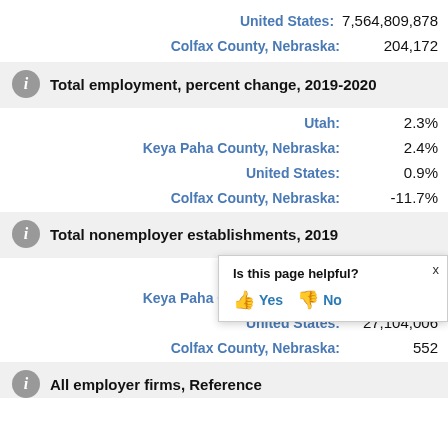United States: 7,564,809,878
Colfax County, Nebraska: 204,172
Total employment, percent change, 2019-2020
Utah: 2.3%
Keya Paha County, Nebraska: 2.4%
United States: 0.9%
Colfax County, Nebraska: -11.7%
Total nonemployer establishments, 2019
Utah: 256,450
Keya Paha County, Nebraska: 118
United States: 27,104,006
Colfax County, Nebraska: 552
All employer firms, Reference
Is this page helpful? Yes No